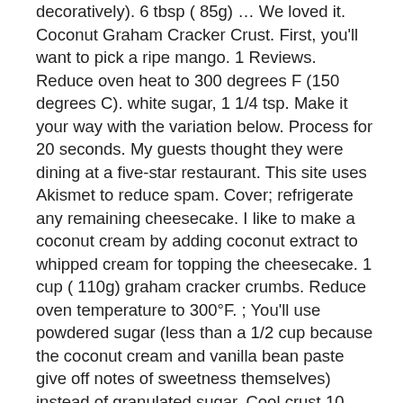decoratively). 6 tbsp ( 85g) … We loved it. Coconut Graham Cracker Crust. First, you'll want to pick a ripe mango. 1 Reviews. Reduce oven heat to 300 degrees F (150 degrees C). white sugar, 1 1/4 tsp. Make it your way with the variation below. Process for 20 seconds. My guests thought they were dining at a five-star restaurant. This site uses Akismet to reduce spam. Cover; refrigerate any remaining cheesecake. I like to make a coconut cream by adding coconut extract to whipped cream for topping the cheesecake. 1 cup ( 110g) graham cracker crumbs. Reduce oven temperature to 300°F. ; You'll use powdered sugar (less than a 1/2 cup because the coconut cream and vanilla bean paste give off notes of sweetness themselves) instead of granulated sugar. Cool crust 10 minutes. A delicious taste of the tropics is headed your way with this cheesecake, boasting a coconut cookie crust, mango in the creamy filling and shaved coconut on top. Info. For a "ginger" crust just add some ginger (and other spices if preferred). Course: Mango Dessert Recipes Cuisine: Vegetarian Mango Recipes Keyword: Mango Dessert Recipes, Mango for the Holidays INGREDIENTS. Well done, CC! Combine the coconut, gingersnap cookies, and melted butter in a bowl; mix until evenly moistened. The flavors compliment each other vs. compete with each other. I used vanilla wafers instead, I followed the rest of the recipe as stated. Mango Coconut